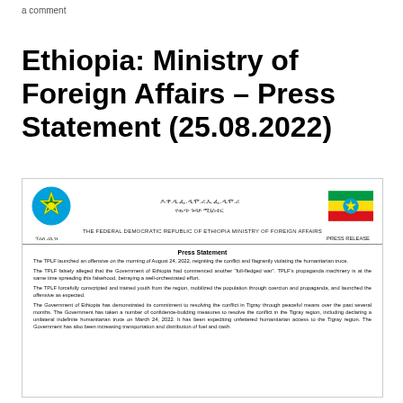a comment
Ethiopia: Ministry of Foreign Affairs – Press Statement (25.08.2022)
[Figure (other): Embedded image of an official Ethiopian Ministry of Foreign Affairs press release document, showing the Ethiopian emblem, Ethiopian flag, Amharic and English text header, and the body of the press statement dated August 24-25, 2022 regarding TPLF offensive.]